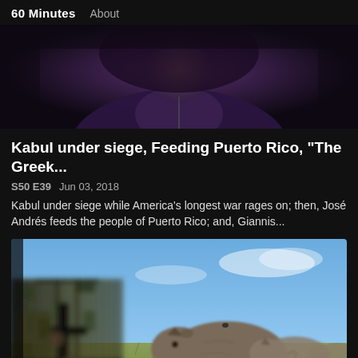60 Minutes   About
[Figure (photo): Dark portrait photo of a person in a dark hoodie, face partially obscured]
Kabul under siege, Feeding Puerto Rico, "The Greek...
S50 E39   Jun 03, 2018
Kabul under siege while America's longest war rages on; then, José Andrés feeds the people of Puerto Rico; and, Giannis...
[Figure (photo): Composite photo showing an armed soldier in camouflage uniform holding a rifle in the foreground (blurred), and a group of rhinos grazing on a grassy savanna in the background under a blue sky]